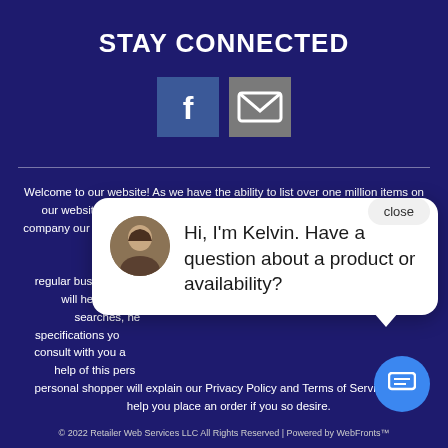STAY CONNECTED
[Figure (screenshot): Facebook icon button (blue square) and email/envelope icon button (gray square) side by side]
Welcome to our website! As we have the ability to list over one million items on our website (our selection changes all of the time), it is not feasible for a company our size to record and playback the descriptions on every item on our website. However, Please call our [number] during regular business hours and one of our kind and friendly personal shoppers will help you navigate through our website, help conduct advanced searches, help you choose the item you are looking for with the specifications you are seeking, read you the specifications of any item and consult with you about the products themselves. There is no charge for the help of this personal shopper for anyone with a disability. Finally, your personal shopper will explain our Privacy Policy and Terms of Service, and help you place an order if you so desire.
[Figure (screenshot): Chat popup with avatar photo of Kelvin and message: Hi, I'm Kelvin. Have a question about a product or availability? With a close button and chat bubble button.]
© 2022 Retailer Web Services LLC All Rights Reserved | Powered by WebFronts™